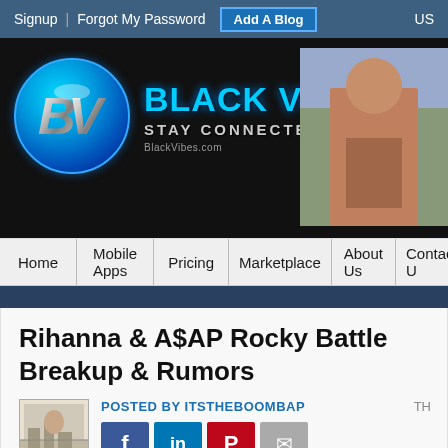Signup | Forgot My Password  Add A Blog  US
[Figure (logo): Black Vibes website banner with circular BV logo, text 'BLACK VIBES STAY CONNECTED', and a photo of a woman on phone]
Home | Mobile Apps | Pricing | Marketplace | About Us | Contact U
Rihanna & A$AP Rocky Battle Breakup & Rumors
POSTED BY ITSTHEBOOMBAP
Tweet